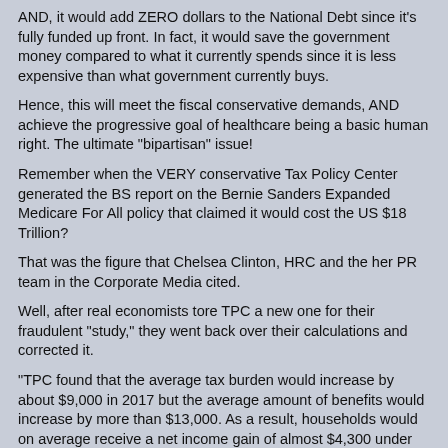AND, it would add ZERO dollars to the National Debt since it's fully funded up front.  In fact, it would save the government money compared to what it currently spends since it is less expensive than what government currently buys.
Hence, this will meet the fiscal conservative demands, AND achieve the progressive goal of healthcare being a basic human right.  The ultimate "bipartisan" issue!
Remember when the VERY conservative Tax Policy Center generated the BS report on the Bernie Sanders Expanded Medicare For All policy that claimed it would cost the US $18 Trillion?
That was the figure that Chelsea Clinton, HRC and the her PR team in the Corporate Media cited.
Well, after real economists tore TPC a new one for their fraudulent "study," they went back over their calculations and corrected it.
"TPC found that the average tax burden would increase by about $9,000 in 2017 but the average amount of benefits would increase by more than $13,000. As a result, households would on average receive a net income gain of almost $4,300 under Sanders's proposals, TPC said.
"Households in the bottom fifth of income would on average